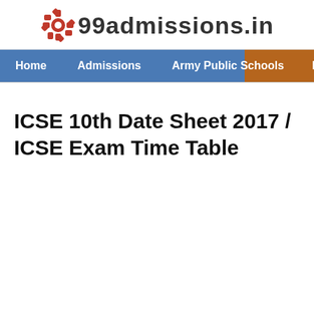[Figure (logo): 99admissions.in logo with gear icon]
Home   Admissions   Army Public Schools   Er
ICSE 10th Date Sheet 2017 / ICSE Exam Time Table